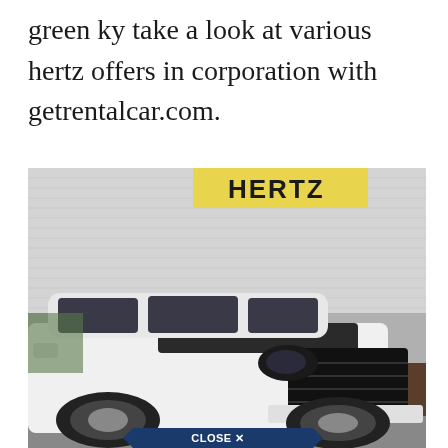green ky take a look at various hertz offers in corporation with getrentalcar.com.
[Figure (photo): A white Jeep Grand Cherokee SUV parked in front of a Hertz car rental building. The yellow Hertz sign is partially visible at the top. A 'CLOSE X' button overlay is visible at the bottom of the image in a dark blue pentagon/arrow shape.]